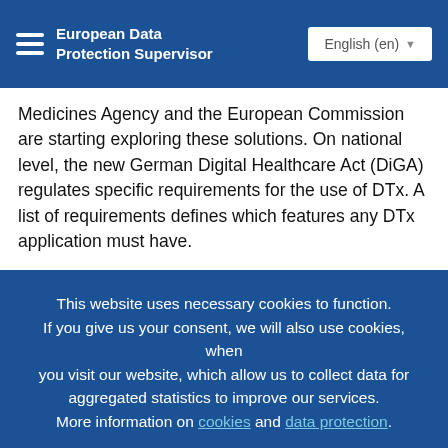European Data Protection Supervisor | English (en)
Medicines Agency and the European Commission are starting exploring these solutions. On national level, the new German Digital Healthcare Act (DiGA) regulates specific requirements for the use of DTx. A list of requirements defines which features any DTx application must have.
This website uses necessary cookies to function. If you give us your consent, we will also use cookies, when you visit our website, which allow us to collect data for aggregated statistics to improve our services. More information on cookies and data protection.
Accept cookies for aggregated statistics
No thanks, only necessary cookies